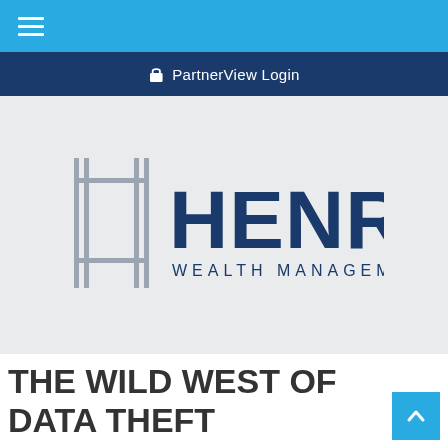Navigation menu
PartnerView Login
[Figure (logo): Henry Wealth Management logo: stylized H lettermark in grey lines on the left, and 'HENRY' in large dark navy bold text with 'WEALTH MANAGEMENT' in smaller spaced caps below, on a light grey background.]
THE WILD WEST OF DATA THEFT